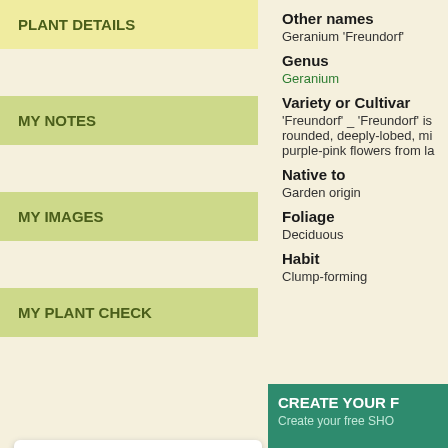PLANT DETAILS
MY NOTES
MY IMAGES
MY PLANT CHECK
[Figure (photo): Two thumbnail photos of Geranium Freundorf plant and flowers, plus a large main photo showing purple-pink flowers with green foliage]
View all photos  Login to upload a photo
Other names
Geranium 'Freundorf'
Genus
Geranium
Variety or Cultivar
'Freundorf' _ 'Freundorf' is rounded, deeply-lobed, mi purple-pink flowers from la
Native to
Garden origin
Foliage
Deciduous
Habit
Clump-forming
CREATE YOUR F
Create your free SHO